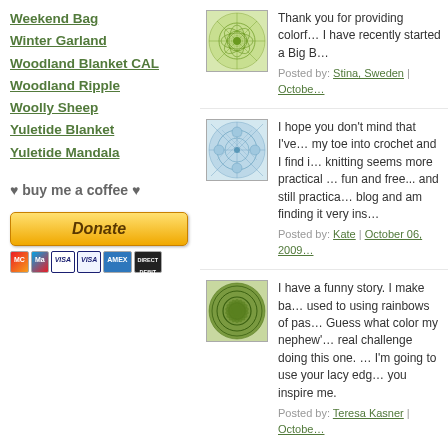Weekend Bag
Winter Garland
Woodland Blanket CAL
Woodland Ripple
Woolly Sheep
Yuletide Blanket
Yuletide Mandala
♥ buy me a coffee ♥
[Figure (other): PayPal Donate button with payment icons (Mastercard, Maestro, Visa, Visa, Amex, Direct Debit)]
[Figure (illustration): Green mandala crochet pattern thumbnail]
Thank you for providing colorf… I have recently started a Big B… Posted by: Stina, Sweden | Octobe…
[Figure (illustration): Blue lacework crochet pattern thumbnail]
I hope you don't mind that I've… my toe into crochet and I find i… knitting seems more practical … fun and free... and still practica… blog and am finding it very ins… Posted by: Kate | October 06, 2009…
[Figure (illustration): Dark green swirl mandala crochet pattern thumbnail]
I have a funny story. I make ba… used to using rainbows of pas… Guess what color my nephew'… real challenge doing this one. … I'm going to use your lacy edg… you inspire me. Posted by: Teresa Kasner | Octobe…
[Figure (illustration): Light blue spirograph crochet pattern thumbnail]
Stunning! Thank you. I was aw… most of the week and have jus…